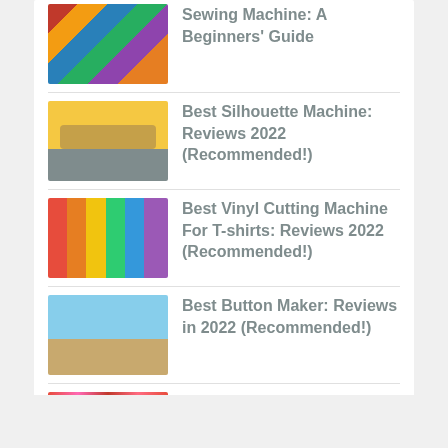Sewing Machine: A Beginners' Guide
Best Silhouette Machine: Reviews 2022 (Recommended!)
Best Vinyl Cutting Machine For T-shirts: Reviews 2022 (Recommended!)
Best Button Maker: Reviews in 2022 (Recommended!)
Best Plastisol Ink for Screen Printing – Reviews 2022 (Recommended!)